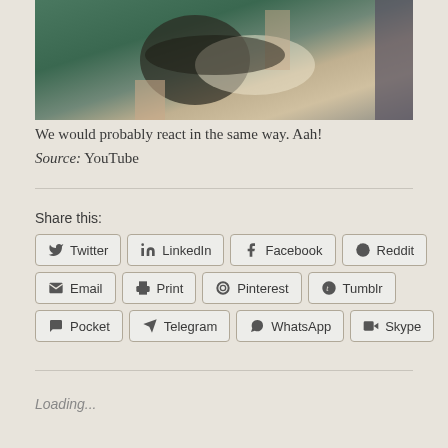[Figure (photo): A person near an alligator or crocodile with open jaws, near water with greenish tones]
We would probably react in the same way. Aah!
Source: YouTube
Share this:
Twitter
LinkedIn
Facebook
Reddit
Email
Print
Pinterest
Tumblr
Pocket
Telegram
WhatsApp
Skype
Loading...